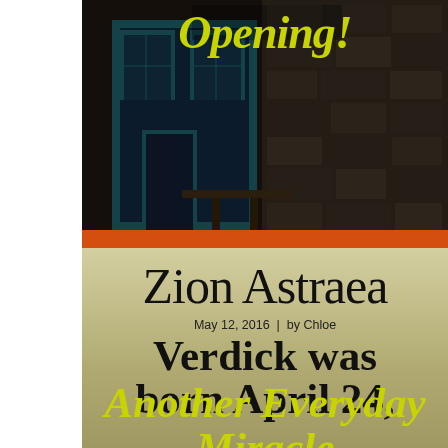[Figure (photo): Dark photograph of a restaurant exterior with blue door/windows and stone wall, with yellow-green 'Opening!' text overlay at top]
Zion Astraea
May 12, 2016  |  by Chloe
Verdick was born April 24,
Another Everyday Miracle